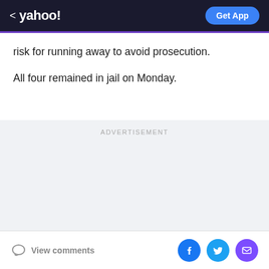< yahoo! | Get App
risk for running away to avoid prosecution.
All four remained in jail on Monday.
ADVERTISEMENT
View comments | Facebook | Twitter | Email